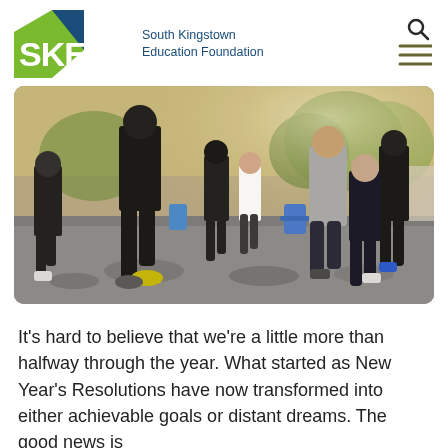[Figure (logo): SKEF South Kingstown Education Foundation logo with green and blue geometric shapes]
[Figure (photo): Group of people running outdoors on a road/path, viewed from behind and side, sunny day with trees in background]
It's hard to believe that we're a little more than halfway through the year. What started as New Year's Resolutions have now transformed into either achievable goals or distant dreams. The good news is